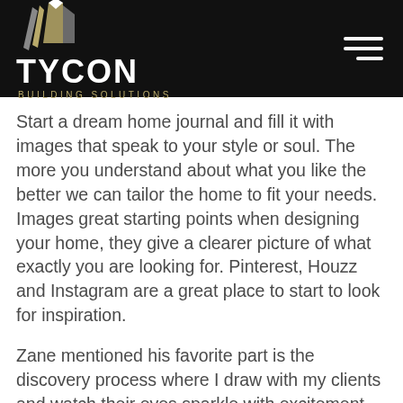[Figure (logo): Tycon Building Solutions logo with geometric house/diamond icon made of triangular shapes in white and gold/tan on black background, with hamburger menu icon on the right]
Start a dream home journal and fill it with images that speak to your style or soul. The more you understand about what you like the better we can tailor the home to fit your needs. Images great starting points when designing your home, they give a clearer picture of what exactly you are looking for. Pinterest, Houzz and Instagram are a great place to start to look for inspiration.
Zane mentioned his favorite part is the discovery process where I draw with my clients and watch their eyes sparkle with excitement as it comes together. This part of our process sets ZED Studio apart. We sit down and draw with you on the concept of all...